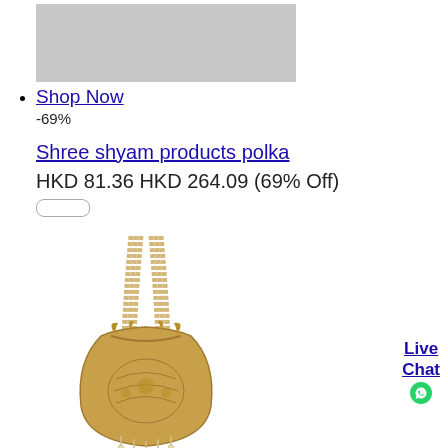[Figure (photo): Gray placeholder rectangle for a product image]
Shop Now
-69%

Shree shyam products polka
HKD 81.36 HKD 264.09 (69% Off)
[Figure (photo): Gold beaded potli bag with pearl handle strap and embroidered design, decorative Indian handbag]
Shop Now
-[percentage]%
Live Chat